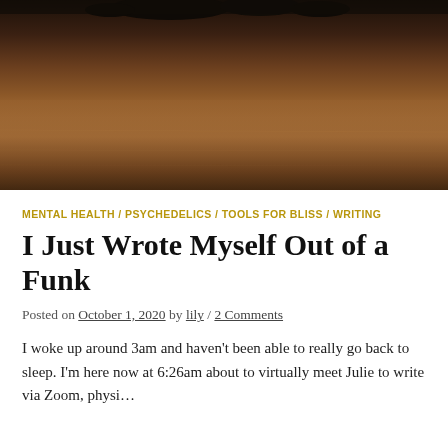[Figure (photo): Long-exposure landscape photograph showing a calm water surface with dark rocks barely visible at the top, warm brown and amber tones throughout]
MENTAL HEALTH / PSYCHEDELICS / TOOLS FOR BLISS / WRITING
I Just Wrote Myself Out of a Funk
Posted on October 1, 2020 by lily / 2 Comments
I woke up around 3am and haven't been able to really go back to sleep. I'm here now at 6:26am about to virtually meet Julie to write via Zoom, physi…